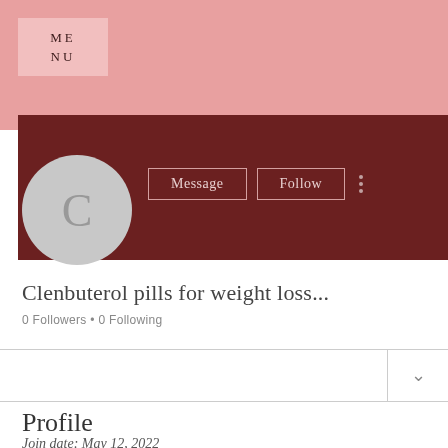[Figure (screenshot): Social media profile page screenshot showing a pink banner header with MENU label, dark red/maroon profile background, circular avatar with letter C, Message and Follow buttons, profile name 'Clenbuterol pills for weight loss...', follower count, and Profile section with join date.]
ME NU
Clenbuterol pills for weight loss...
0 Followers • 0 Following
Profile
Join date: May 12, 2022